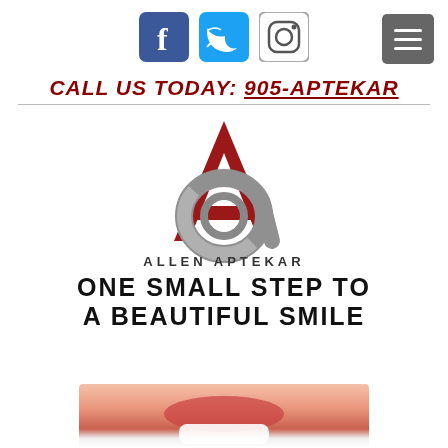[Figure (logo): Social media icons: Facebook (blue), Twitter (blue), Instagram (outlined)]
[Figure (other): Hamburger menu button (grey rectangle with three white lines)]
CALL US TODAY: 905-APTEKAR
[Figure (logo): Allen Aptekar logo: large red letter A with grey stylized lowercase a overlaid, text ALLEN APTEKAR below]
ONE SMALL STEP TO A BEAUTIFUL SMILE
[Figure (photo): Close-up photo of a woman smiling showing white teeth and red lips]